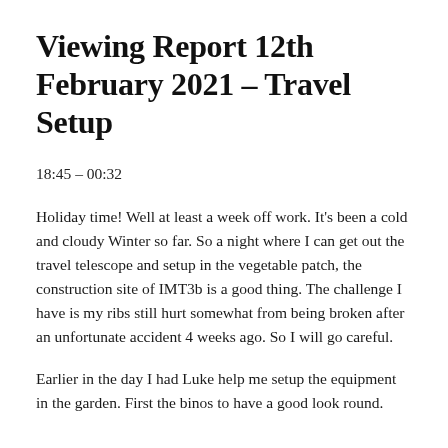Viewing Report 12th February 2021 – Travel Setup
18:45 – 00:32
Holiday time! Well at least a week off work. It's been a cold and cloudy Winter so far. So a night where I can get out the travel telescope and setup in the vegetable patch, the construction site of IMT3b is a good thing. The challenge I have is my ribs still hurt somewhat from being broken after an unfortunate accident 4 weeks ago. So I will go careful.
Earlier in the day I had Luke help me setup the equipment in the garden. First the binos to have a good look round.